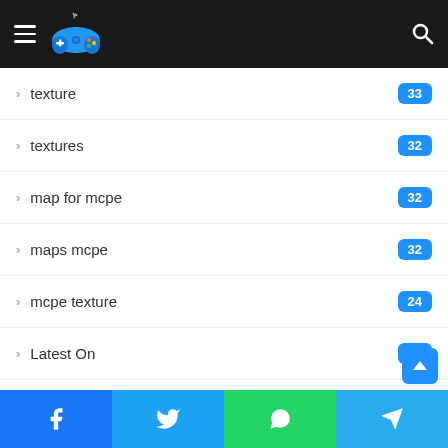Gaming site header with hamburger menu, logo, and search icon
texture — 33
textures — 32
map for mcpe — 32
maps mcpe — 32
mcpe texture — 24
Latest On — 23
mcpe shaders pack — 16
map adventure — 16
mcpe — 16
Mods — 2...
Facebook | Twitter | WhatsApp | Telegram